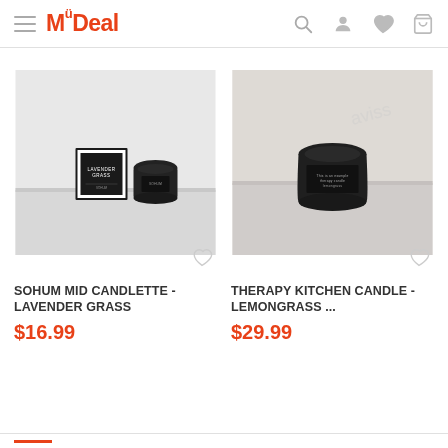MyDeal
[Figure (photo): Product photo of Sohum Mid Candlette - Lavender Grass: a black candle jar with black and white gift box on a light grey surface]
[Figure (photo): Product photo of Therapy Kitchen Candle - Lemongrass: a single black candle jar on a light grey surface with textured white wall background]
SOHUM MID CANDLETTE - LAVENDER GRASS
$16.99
THERAPY KITCHEN CANDLE - LEMONGRASS ...
$29.99